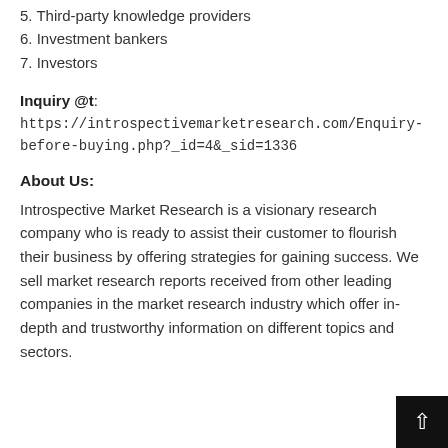5. Third-party knowledge providers
6. Investment bankers
7. Investors
Inquiry @t: https://introspectivemarketresearch.com/Enquiry-before-buying.php?_id=4&_sid=1336
About Us:
Introspective Market Research is a visionary research company who is ready to assist their customer to flourish their business by offering strategies for gaining success. We sell market research reports received from other leading companies in the market research industry which offer in-depth and trustworthy information on different topics and sectors.